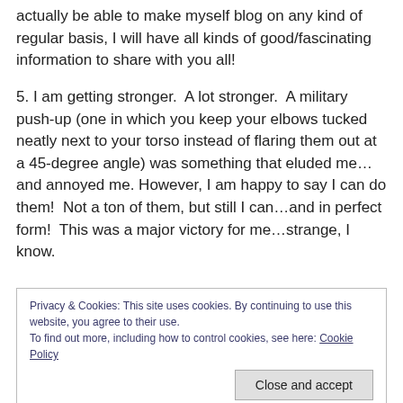actually be able to make myself blog on any kind of regular basis, I will have all kinds of good/fascinating information to share with you all!
5. I am getting stronger.  A lot stronger.  A military push-up (one in which you keep your elbows tucked neatly next to your torso instead of flaring them out at a 45-degree angle) was something that eluded me…and annoyed me. However, I am happy to say I can do them!  Not a ton of them, but still I can…and in perfect form!  This was a major victory for me…strange, I know.
Privacy & Cookies: This site uses cookies. By continuing to use this website, you agree to their use.
To find out more, including how to control cookies, see here: Cookie Policy
was diagnosed with tendonitis in it a couple months ago